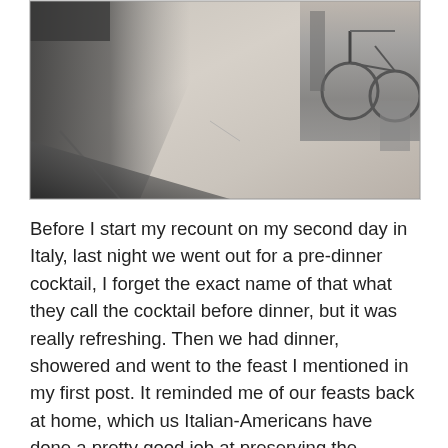[Figure (photo): Outdoor photo taken from above showing a concrete/paved ground with a large shadow on the left side, and bicycles or equipment visible in the upper right corner.]
Before I start my recount on my second day in Italy, last night we went out for a pre-dinner cocktail, I forget the exact name of that what they call the cocktail before dinner, but it was really refreshing. Then we had dinner, showered and went to the feast I mentioned in my first post. It reminded me of our feasts back at home, which us Italian-Americans have done a pretty good job at preserving the traditions from here, now that I've seen it first-hand. Lots of food, knick-knacks, a band playing… the core elements of a good time.